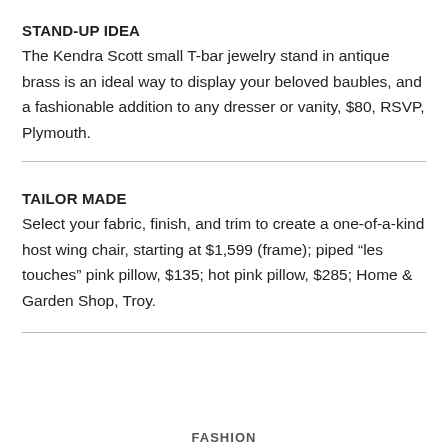STAND-UP IDEA
The Kendra Scott small T-bar jewelry stand in antique brass is an ideal way to display your beloved baubles, and a fashionable addition to any dresser or vanity, $80, RSVP, Plymouth.
TAILOR MADE
Select your fabric, finish, and trim to create a one-of-a-kind host wing chair, starting at $1,599 (frame); piped “les touches” pink pillow, $135; hot pink pillow, $285; Home & Garden Shop, Troy.
FASHION